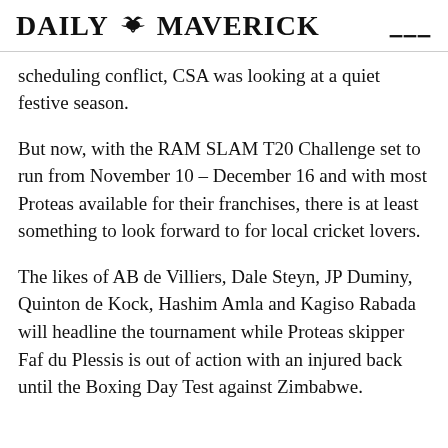DAILY MAVERICK
scheduling conflict, CSA was looking at a quiet festive season.
But now, with the RAM SLAM T20 Challenge set to run from November 10 – December 16 and with most Proteas available for their franchises, there is at least something to look forward to for local cricket lovers.
The likes of AB de Villiers, Dale Steyn, JP Duminy, Quinton de Kock, Hashim Amla and Kagiso Rabada will headline the tournament while Proteas skipper Faf du Plessis is out of action with an injured back until the Boxing Day Test against Zimbabwe.